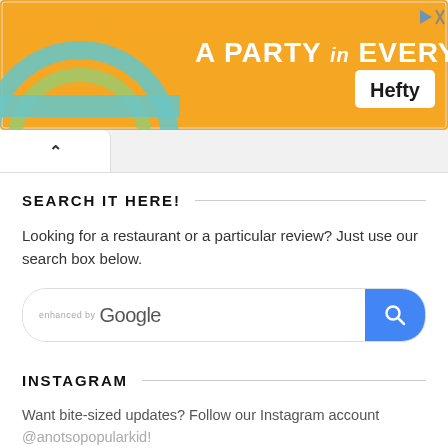[Figure (infographic): Hefty brand advertisement banner with orange background. Text reads 'A PARTY in EVERY PACK' with Hefty logo and a rainbow/party graphic on the left. Small navigation icons (play, close) in top right corner.]
SEARCH IT HERE!
Looking for a restaurant or a particular review? Just use our search box below.
[Figure (screenshot): Google enhanced search box with blue search button on the right showing magnifying glass icon.]
INSTAGRAM
Want bite-sized updates? Follow our Instagram account @anotsopopularkid!